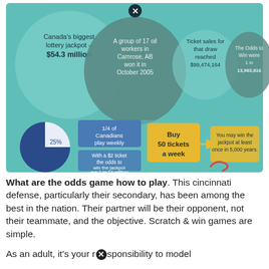[Figure (infographic): Lottery infographic showing Canada's biggest lottery jackpot $54.3 million, a group of 17 oil workers in Camrose, AB won it in October 2005, ticket sales for that draw reached $99,474,164, odds to win were 1 in 13,983,816. Bottom section shows pie chart with 25% slice, 1/4 of Canadians play weekly, with a $2 ticket odds to win the jackpot are 1 in 14 million, Buy 50 tickets a week, You may win the jackpot at least once in 5,000 years.]
What are the odds game how to play. This cincinnati defense, particularly their secondary, has been among the best in the nation. Their partner will be their opponent, not their teammate, and the objective. Scratch & win games are simple.
As an adult, it's your responsibility to model